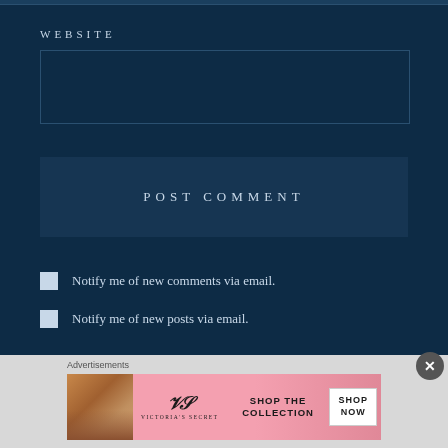WEBSITE
POST COMMENT
Notify me of new comments via email.
Notify me of new posts via email.
Advertisements
[Figure (illustration): Victoria's Secret advertisement banner with model, logo, 'SHOP THE COLLECTION' text, and 'SHOP NOW' button]